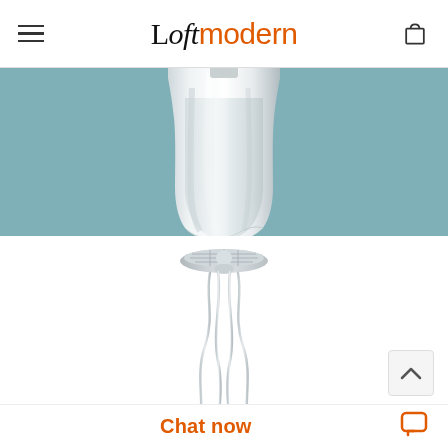Loftmodern
[Figure (photo): Close-up product photo of a white frosted glass pendant lamp shade against a teal/blue-grey background, partially cropped at top]
[Figure (photo): Product photo of a chrome pendant lamp with sinuous curved metal wires hanging from a circular ceiling canopy, on white background. Bottom of image is cropped showing a frosted glass shade appearing from below.]
Chat now